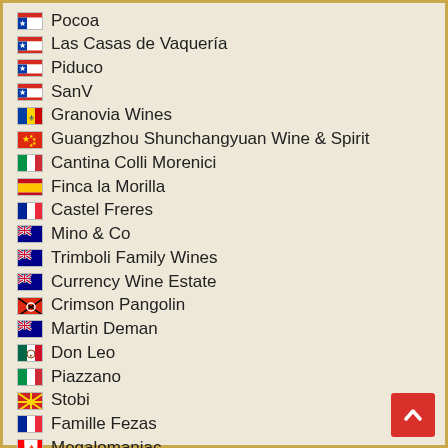Pocoa
Las Casas de Vaquería
Piduco
SanV
Granovia Wines
Guangzhou Shunchangyuan Wine & Spirit
Cantina Colli Morenici
Finca la Morilla
Castel Freres
Mino & Co
Trimboli Family Wines
Currency Wine Estate
Crimson Pangolin
Martin Deman
Don Leo
Piazzano
Stobi
Famille Fezas
Megalomaniac
See Saw